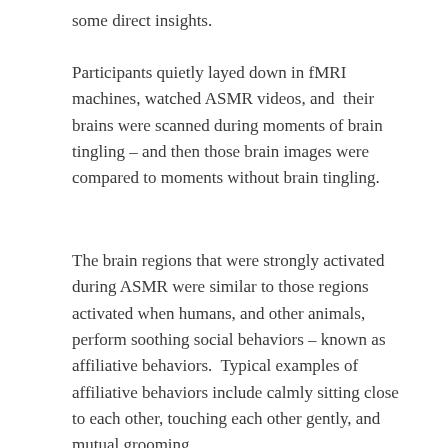some direct insights.
Participants quietly layed down in fMRI machines, watched ASMR videos, and  their brains were scanned during moments of brain tingling – and then those brain images were compared to moments without brain tingling.
The brain regions that were strongly activated during ASMR were similar to those regions activated when humans, and other animals, perform soothing social behaviors – known as affiliative behaviors.  Typical examples of affiliative behaviors include calmly sitting close to each other, touching each other gently, and mutual grooming.